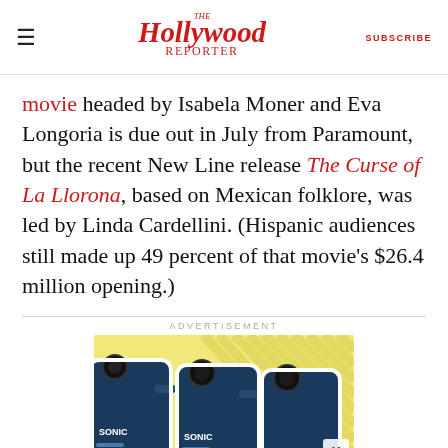The Hollywood Reporter | SUBSCRIBE
movie headed by Isabela Moner and Eva Longoria is due out in July from Paramount, but the recent New Line release The Curse of La Llorona, based on Mexican folklore, was led by Linda Cardellini. (Hispanic audiences still made up 49 percent of that movie's $26.4 million opening.)
ADVERTISEMENT
[Figure (photo): Advertisement showing blue Sonic massage gun devices against a yellow background with diagonal stripe pattern, with an X close button in the bottom right corner.]